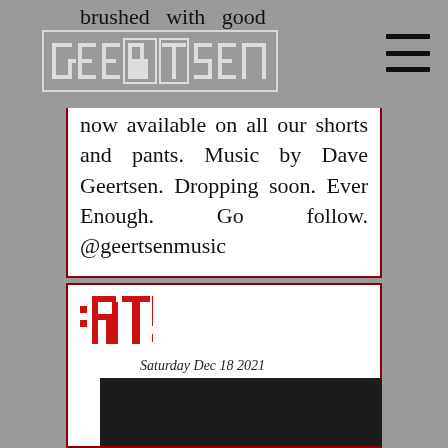Geertsen brand website header with logo and hamburger menu
brushed with good now available on all our shorts and pants. Music by Dave Geertsen. Dropping soon. Ever Enough. Go follow. @geertsenmusic
[Figure (logo): RT logo in red pixelated style]
Saturday Dec 18 2021
[Figure (screenshot): Video player with dark background, play button, volume icon, options dots, and progress bar]